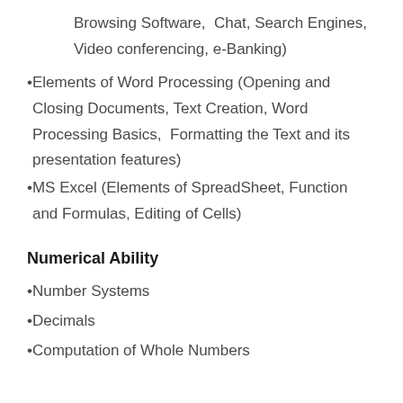Browsing Software,  Chat, Search Engines, Video conferencing, e-Banking)
Elements of Word Processing (Opening and Closing Documents, Text Creation, Word Processing Basics,  Formatting the Text and its presentation features)
MS Excel (Elements of SpreadSheet, Function and Formulas, Editing of Cells)
Numerical Ability
Number Systems
Decimals
Computation of Whole Numbers